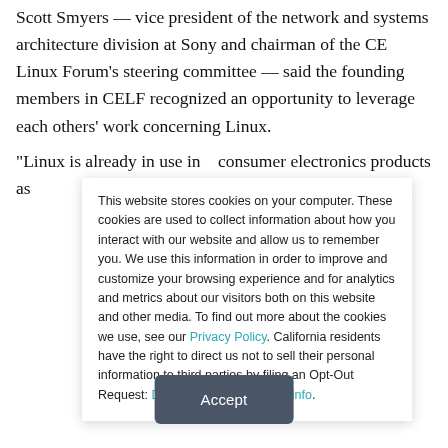Scott Smyers — vice president of the network and systems architecture division at Sony and chairman of the CE Linux Forum's steering committee — said the founding members in CELF recognized an opportunity to leverage each others' work concerning Linux.
"Linux is already in use in  consumer electronics products as
This website stores cookies on your computer. These cookies are used to collect information about how you interact with our website and allow us to remember you. We use this information in order to improve and customize your browsing experience and for analytics and metrics about our visitors both on this website and other media. To find out more about the cookies we use, see our Privacy Policy. California residents have the right to direct us not to sell their personal information to third parties by filing an Opt-Out Request: Do Not Sell My Personal Info.
Accept